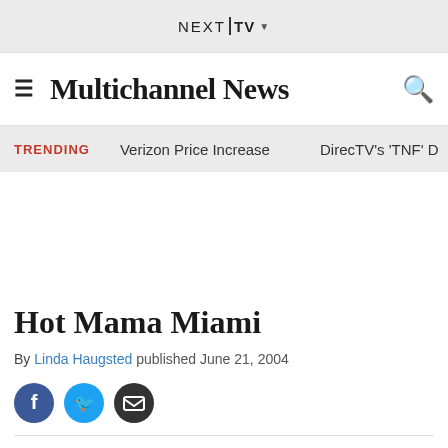NEXT|TV ▼
Multichannel News
TRENDING   Verizon Price Increase   DirecTV's 'TNF' D
Hot Mama Miami
By Linda Haugsted published June 21, 2004